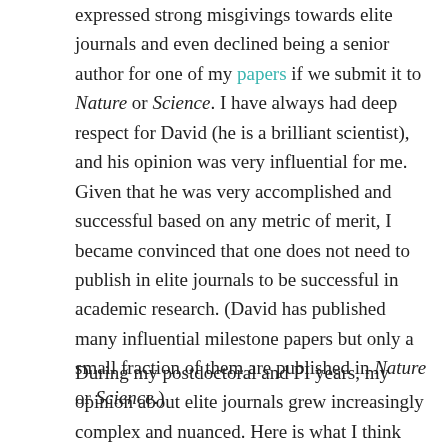expressed strong misgivings towards elite journals and even declined being a senior author for one of my papers if we submit it to Nature or Science. I have always had deep respect for David (he is a brilliant scientist), and his opinion was very influential for me. Given that he was very accomplished and successful based on any metric of merit, I became convinced that one does not need to publish in elite journals to be successful in academic research. (David has published many influential milestone papers but only a small fraction of them are published in Nature or Science.)
During my postdoctoral and PI years, my opinion about elite journals grew increasingly complex and nuanced. Here is what I think now: